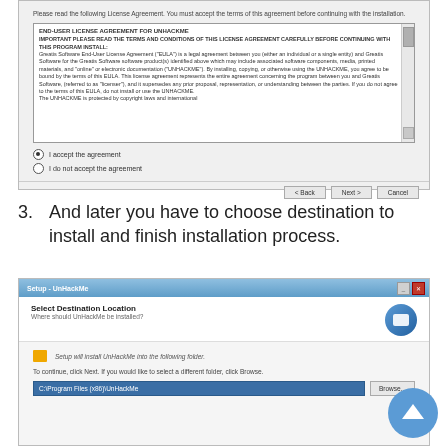[Figure (screenshot): Windows installer dialog showing License Agreement step with EULA text box, radio buttons for accepting/not accepting, and Back/Next/Cancel buttons]
3. And later you have to choose destination to install and finish installation process.
[Figure (screenshot): Windows Setup - UnHackMe dialog showing Select Destination Location step with folder path input C:\Program Files (x86)\UnHackMe and Browse button]